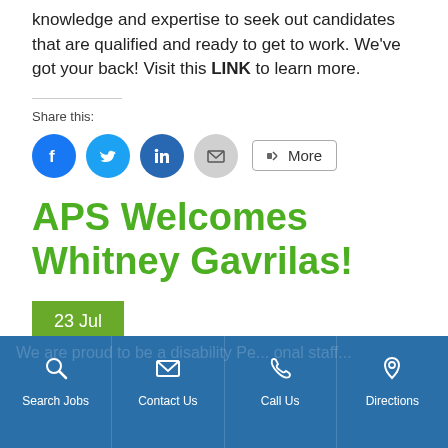knowledge and expertise to seek out candidates that are qualified and ready to get to work. We've got your back! Visit this LINK to learn more.
Share this:
[Figure (infographic): Social share buttons: Facebook (blue circle), Twitter (light blue circle), LinkedIn (dark blue circle), Email (gray circle), and a More button with share icon]
APS Welcomes Whitney Gavrilas!
23 Jul
Search Jobs | Contact Us | Call Us | Directions